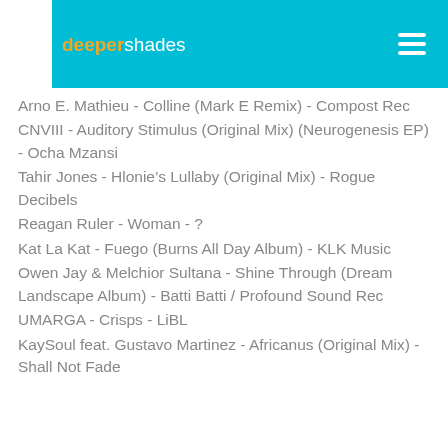deepershades
Arno E. Mathieu - Colline (Mark E Remix) - Compost Rec
CNVIII - Auditory Stimulus (Original Mix) (Neurogenesis EP) - Ocha Mzansi
Tahir Jones - Hlonie's Lullaby (Original Mix) - Rogue Decibels
Reagan Ruler - Woman - ?
Kat La Kat - Fuego (Burns All Day Album) - KLK Music
Owen Jay & Melchior Sultana - Shine Through (Dream Landscape Album) - Batti Batti / Profound Sound Rec
UMARGA - Crisps - LiBL
KaySoul feat. Gustavo Martinez - Africanus (Original Mix) - Shall Not Fade
ONLY ON LIVE RECORDING:
Marlon George - Intimate FR - Robsoul
Johnny Corporate - Sunday Shoutin (Original) - Henry